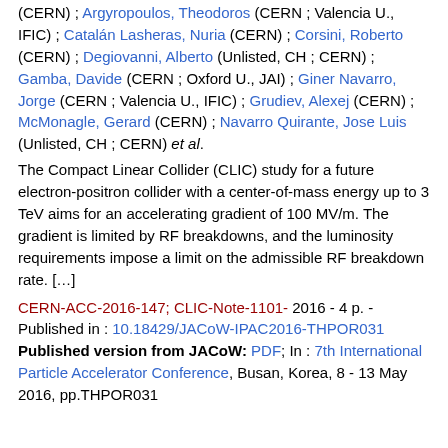(CERN) ; Argyropoulos, Theodoros (CERN ; Valencia U., IFIC) ; Catalán Lasheras, Nuria (CERN) ; Corsini, Roberto (CERN) ; Degiovanni, Alberto (Unlisted, CH ; CERN) ; Gamba, Davide (CERN ; Oxford U., JAI) ; Giner Navarro, Jorge (CERN ; Valencia U., IFIC) ; Grudiev, Alexej (CERN) ; McMonagle, Gerard (CERN) ; Navarro Quirante, Jose Luis (Unlisted, CH ; CERN) et al.
The Compact Linear Collider (CLIC) study for a future electron-positron collider with a center-of-mass energy up to 3 TeV aims for an accelerating gradient of 100 MV/m. The gradient is limited by RF breakdowns, and the luminosity requirements impose a limit on the admissible RF breakdown rate. […]
CERN-ACC-2016-147; CLIC-Note-1101- 2016 - 4 p. - Published in : 10.18429/JACoW-IPAC2016-THPOR031 Published version from JACoW: PDF; In : 7th International Particle Accelerator Conference, Busan, Korea, 8 - 13 May 2016, pp.THPOR031